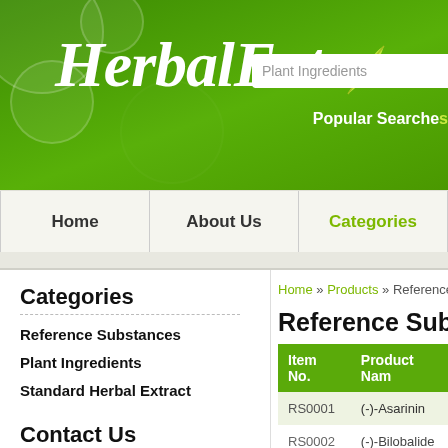HerbalExt
Plant Ingredients
Popular Searche
Home | About Us | Categories
Categories
Reference Substances
Plant Ingredients
Standard Herbal Extract
Contact Us
72 Fairbanks, Suite 100
Irvine, CA 92618
Home » Products » Reference S
Reference Substan
| Item No. | Product Name |
| --- | --- |
| RS0001 | (-)-Asarinin |
| RS0002 | (-)-Bilobalide |
| RS0003 | (-)-Epicatechi |
| RS0004 | (-)-Epigalloca |